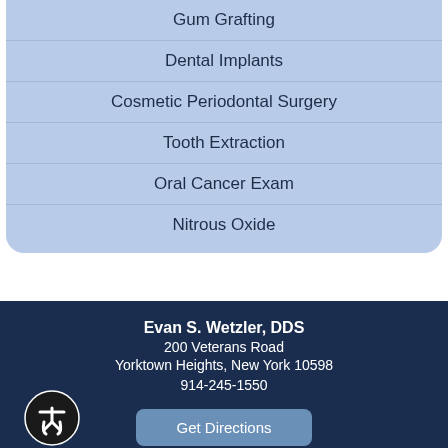Gum Grafting
Dental Implants
Cosmetic Periodontal Surgery
Tooth Extraction
Oral Cancer Exam
Nitrous Oxide
Evan S. Wetzler, DDS
200 Veterans Road
Yorktown Heights, New York 10598
914-245-1550
Get Directions